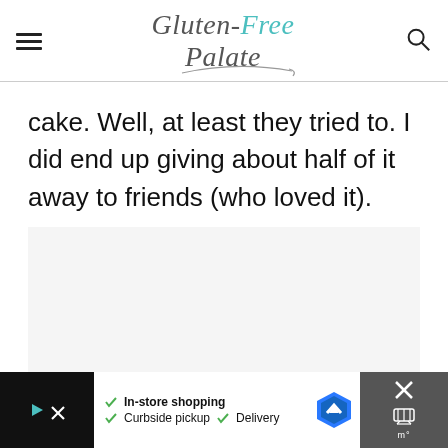Gluten-Free Palate
cake. Well, at least they tried to. I did end up giving about half of it away to friends (who loved it).
[Figure (other): White/light gray blank image placeholder area]
[Figure (other): Advertisement bar at the bottom: black left section with play and X icons, white center section with In-store shopping, Curbside pickup, Delivery text, and a blue navigation diamond icon, gray right section with X and barbecue grill icons]